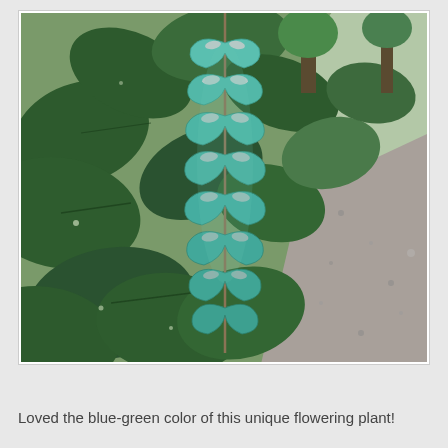[Figure (photo): A close-up photo of a Jade Vine (Strongylodon macrobotrys) plant with distinctive turquoise/blue-green claw-shaped flowers hanging in a long cluster raceme, surrounded by dark green leaves. Behind the plant is a gravel path and more trees/vegetation.]
Loved the blue-green color of this unique flowering plant!